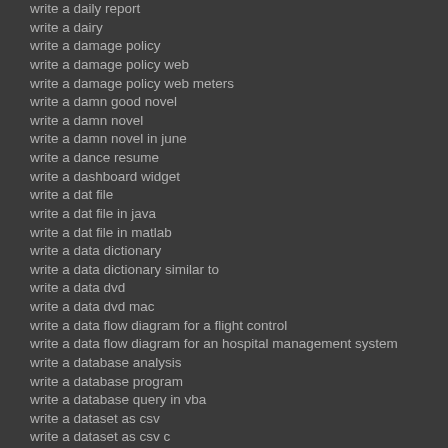write a daily report
write a dairy
write a damage policy
write a damage policy web
write a damage policy web meters
write a damn good novel
write a damn novel
write a damn novel in june
write a dance resume
write a dashboard widget
write a dat file
write a dat file in java
write a dat file in matlab
write a data dictionary
write a data dictionary similar to
write a data dvd
write a data dvd mac
write a data flow diagram for a flight control
write a data flow diagram for an hospital management system
write a database analysis
write a database program
write a database query in vba
write a dataset as csv
write a dataset as csv c
write a dataset in excel
write a date
write a date correctly
write a date in arabic
write a date in chinese
write a date in english
write a date in french